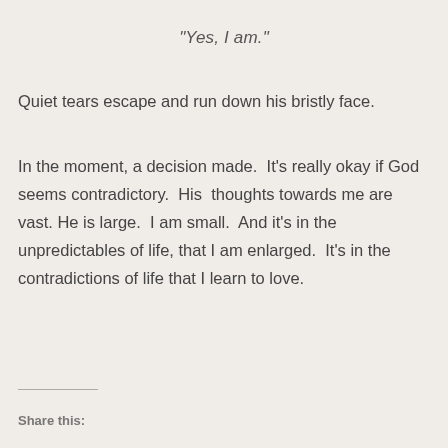“Yes, I am.”
Quiet tears escape and run down his bristly face.
In the moment, a decision made.  It’s really okay if God seems contradictory.  His  thoughts towards me are vast.  He is large.  I am small.  And it’s in the unpredictables of life, that I am enlarged.  It’s in the contradictions of life that I learn to love.
Share this: